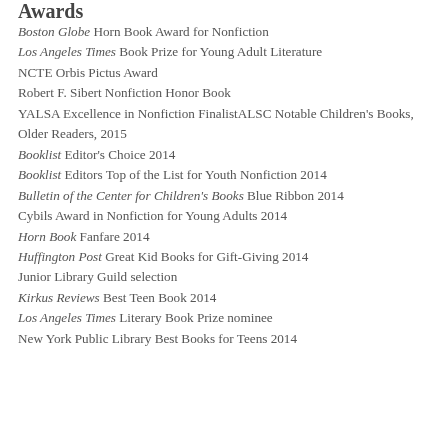Awards
Boston Globe Horn Book Award for Nonfiction
Los Angeles Times Book Prize for Young Adult Literature
NCTE Orbis Pictus Award
Robert F. Sibert Nonfiction Honor Book
YALSA Excellence in Nonfiction FinalistALSC Notable Children's Books, Older Readers, 2015
Booklist Editor's Choice 2014
Booklist Editors Top of the List for Youth Nonfiction 2014
Bulletin of the Center for Children's Books Blue Ribbon 2014
Cybils Award in Nonfiction for Young Adults 2014
Horn Book Fanfare 2014
Huffington Post Great Kid Books for Gift-Giving 2014
Junior Library Guild selection
Kirkus Reviews Best Teen Book 2014
Los Angeles Times Literary Book Prize nominee
New York Public Library Best Books for Teens 2014